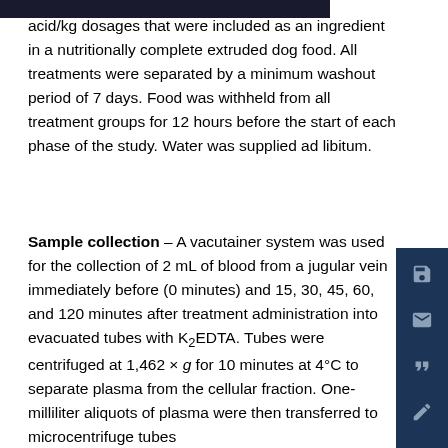acid/kg dosages that were included as an ingredient in a nutritionally complete extruded dog food. All treatments were separated by a minimum washout period of 7 days. Food was withheld from all treatment groups for 12 hours before the start of each phase of the study. Water was supplied ad libitum.
Sample collection – A vacutainer system was used for the collection of 2 mL of blood from a jugular vein immediately before (0 minutes) and 15, 30, 45, 60, and 120 minutes after treatment administration into evacuated tubes with K₂EDTA. Tubes were centrifuged at 1,462 × g for 10 minutes at 4°C to separate plasma from the cellular fraction. One-milliliter aliquots of plasma were then transferred to microcentrifuge tubes